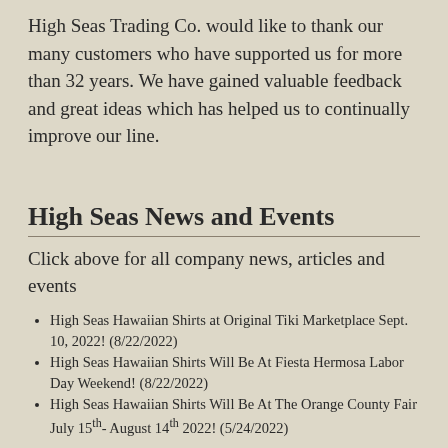High Seas Trading Co. would like to thank our many customers who have supported us for more than 32 years. We have gained valuable feedback and great ideas which has helped us to continually improve our line.
High Seas News and Events
Click above for all company news, articles and events
High Seas Hawaiian Shirts at Original Tiki Marketplace Sept. 10, 2022! (8/22/2022)
High Seas Hawaiian Shirts Will Be At Fiesta Hermosa Labor Day Weekend! (8/22/2022)
High Seas Hawaiian Shirts Will Be At The Orange County Fair July 15th- August 14th 2022! (5/24/2022)